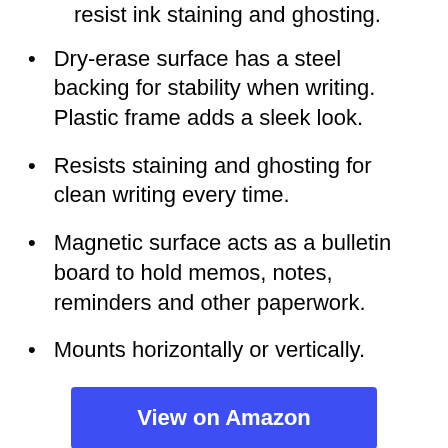resist ink staining and ghosting.
Dry-erase surface has a steel backing for stability when writing. Plastic frame adds a sleek look.
Resists staining and ghosting for clean writing every time.
Magnetic surface acts as a bulletin board to hold memos, notes, reminders and other paperwork.
Mounts horizontally or vertically.
View on Amazon
5. VIZ-PRO Magnetic Dry Erase White Board, 36 X 24 Inches